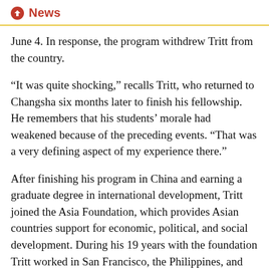News
June 4. In response, the program withdrew Tritt from the country.
“It was quite shocking,” recalls Tritt, who returned to Changsha six months later to finish his fellowship. He remembers that his students’ morale had weakened because of the preceding events. “That was a very defining aspect of my experience there.”
After finishing his program in China and earning a graduate degree in international development, Tritt joined the Asia Foundation, which provides Asian countries support for economic, political, and social development. During his 19 years with the foundation Tritt worked in San Francisco, the Philippines, and Cambodia.